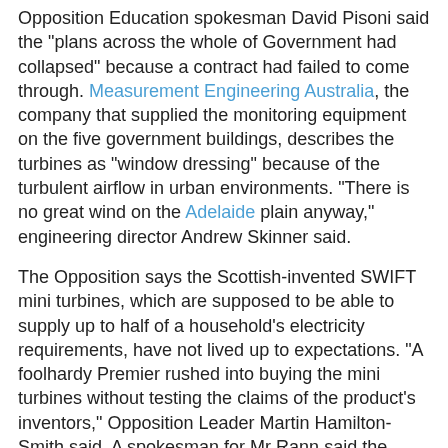Opposition Education spokesman David Pisoni said the "plans across the whole of Government had collapsed" because a contract had failed to come through. Measurement Engineering Australia, the company that supplied the monitoring equipment on the five government buildings, describes the turbines as "window dressing" because of the turbulent airflow in urban environments. "There is no great wind on the Adelaide plain anyway," engineering director Andrew Skinner said.
The Opposition says the Scottish-invented SWIFT mini turbines, which are supposed to be able to supply up to half of a household's electricity requirements, have not lived up to expectations. "A foolhardy Premier rushed into buying the mini turbines without testing the claims of the product's inventors," Opposition Leader Martin Hamilton-Smith said. A spokesman for Mr Rann said the Government's wind energy policy wasn't simply about mini wind turbines on top of city buildings. "When the Rann Government came to power, there were no wind farms in SA," he said. "The state is now home to 53 per cent of the nation's wind energy."